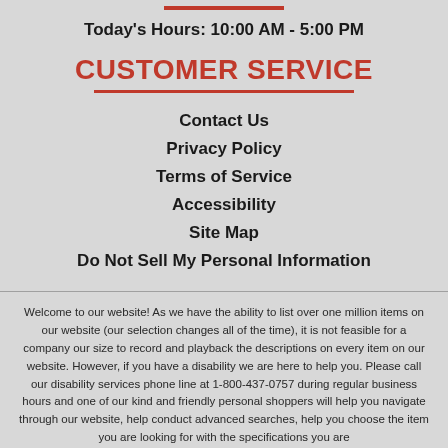Today's Hours: 10:00 AM - 5:00 PM
CUSTOMER SERVICE
Contact Us
Privacy Policy
Terms of Service
Accessibility
Site Map
Do Not Sell My Personal Information
Welcome to our website! As we have the ability to list over one million items on our website (our selection changes all of the time), it is not feasible for a company our size to record and playback the descriptions on every item on our website. However, if you have a disability we are here to help you. Please call our disability services phone line at 1-800-437-0757 during regular business hours and one of our kind and friendly personal shoppers will help you navigate through our website, help conduct advanced searches, help you choose the item you are looking for with the specifications you are